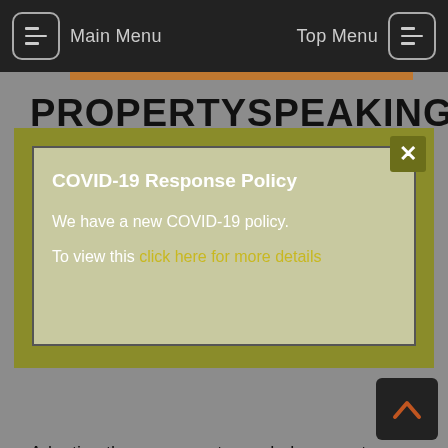Main Menu | Top Menu
PROPERTYSPEAKING
COVID-19 Response Policy

We have a new COVID-19 policy.

To view this click here for more details
Adapting the agreements can help property developers Agreement for Sale and Purchase of Real Estate Update on Overseas Investment Act 2005 Refresher on privacy rights for tenants Proposed residential tenancy changes Download your copy here